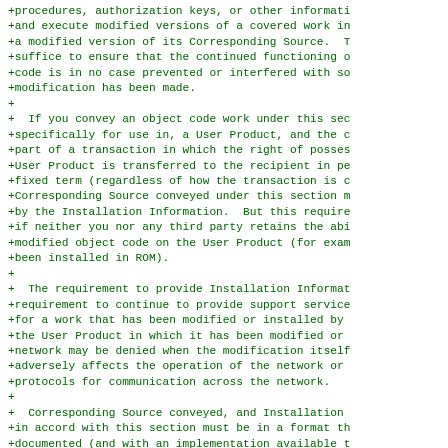+procedures, authorization keys, or other informati
+and execute modified versions of a covered work in
+a modified version of its Corresponding Source.  T
+suffice to ensure that the continued functioning o
+code is in no case prevented or interfered with so
+modification has been made.
+
+  If you convey an object code work under this sec
+specifically for use in, a User Product, and the c
+part of a transaction in which the right of posses
+User Product is transferred to the recipient in pe
+fixed term (regardless of how the transaction is c
+Corresponding Source conveyed under this section m
+by the Installation Information.  But this require
+if neither you nor any third party retains the abi
+modified object code on the User Product (for exam
+been installed in ROM).
+
+  The requirement to provide Installation Informat
+requirement to continue to provide support service
+for a work that has been modified or installed by
+the User Product in which it has been modified or
+network may be denied when the modification itself
+adversely affects the operation of the network or
+protocols for communication across the network.
+
+  Corresponding Source conveyed, and Installation
+in accord with this section must be in a format th
+documented (and with an implementation available t
+source code form), and must require no special pas